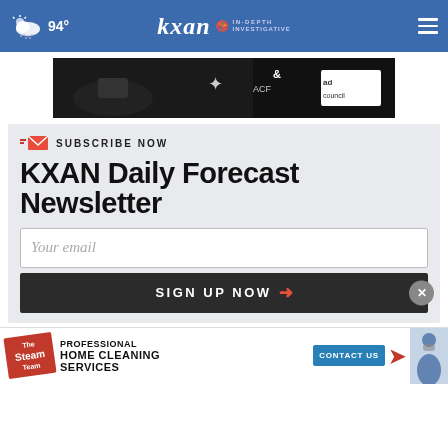94° KXAN IN-DEPTH INVESTIGATIVE
[Figure (photo): ACF and Ad Council advertisement banner, dark background with imagery of hands and logos]
SUBSCRIBE NOW
KXAN Daily Forecast Newsletter
Your email
SIGN UP NOW
[Figure (photo): The Steam Team Professional Home Cleaning Services advertisement with contact us button]